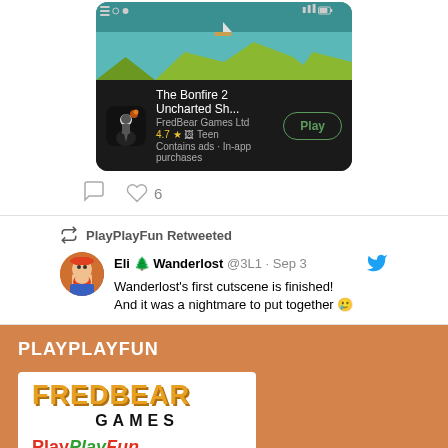[Figure (screenshot): Mobile app card for 'The Bonfire 2 Uncharted Sh...' by FredBear Games Ltd, rated 4.7, Teen, Contains ads, In-app purchases, with a Play button. Shown on dark background.]
♡ 6
PlayPlayFun Retweeted
Eli 🌲 Wanderlost @3L1 · Sep 3
Wanderlost's first cutscene is finished!
And it was a nightmare to put together 🥲
PLAYPLAYFUN
[Figure (logo): FredBear Games logo in orange/yellow and black text, and PlayPlayFun logo in red, green and red italic text, on white background]